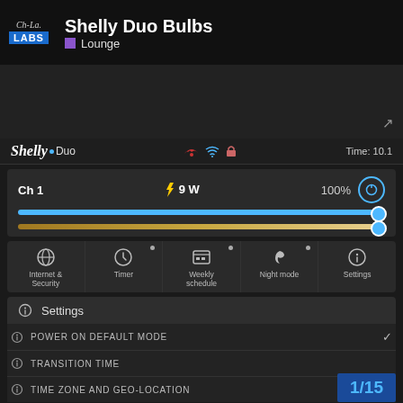Shelly Duo Bulbs — Lounge
[Figure (screenshot): Dark preview area with expand icon]
Shelly Duo — icons: cloud, wifi, lock — Time: 10.1
Ch 1  ⚡ 9 W  100%  Power button
[Figure (schematic): Blue brightness slider at 100% and gold color temperature slider]
Internet & Security | Timer | Weekly schedule | Night mode | Settings
Settings
POWER ON DEFAULT MODE
TRANSITION TIME
TIME ZONE AND GEO-LOCATION
1/15